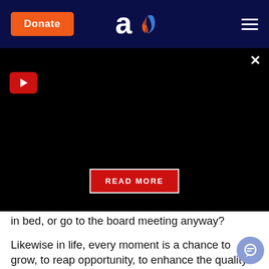[Figure (logo): Aish.com website header with dark navy background, orange Donate button on left, 'a' logo with flame in center, hamburger menu on right]
[Figure (screenshot): Black video panel with red play button top-left, READ MORE red button center, and X close button top-right]
in bed, or go to the board meeting anyway?
Likewise in life, every moment is a chance to grow, to reap opportunity, to enhance the quality of your life. You don't feel like it this morning? Push yourself over the hurdle. Exert quality control over your life. Ensure that whatever you do never falls below the standard of your abilities and goals.
Here's a short list of traits needed for success: